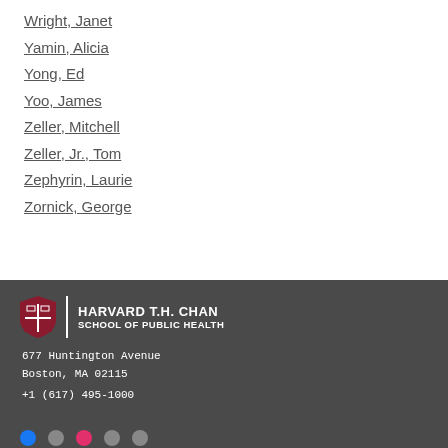Wright, Janet
Yamin, Alicia
Yong, Ed
Yoo, James
Zeller, Mitchell
Zeller, Jr., Tom
Zephyrin, Laurie
Zornick, George
Harvard T.H. Chan School of Public Health
677 Huntington Avenue
Boston, MA 02115
+1 (617) 495-1000